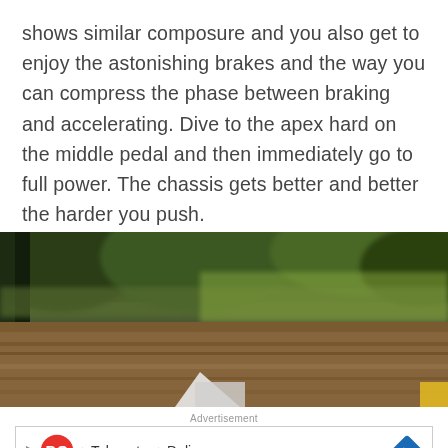shows similar composure and you also get to enjoy the astonishing brakes and the way you can compress the phase between braking and accelerating. Dive to the apex hard on the middle pedal and then immediately go to full power. The chassis gets better and better the harder you push.
[Figure (photo): Motion-blurred photo taken from inside a moving car, showing trees and a grassy/dirt track blur past at high speed. A white element (possibly part of a car or signage) is visible at the bottom center.]
Advertisement
[Figure (other): Advertisement banner for Dairy Queen (DQ) showing the DQ logo, checkmarks next to 'Takeout' and 'Delivery' text, and a blue diamond navigation arrow icon on the right. A close X and play triangle icon are also visible.]